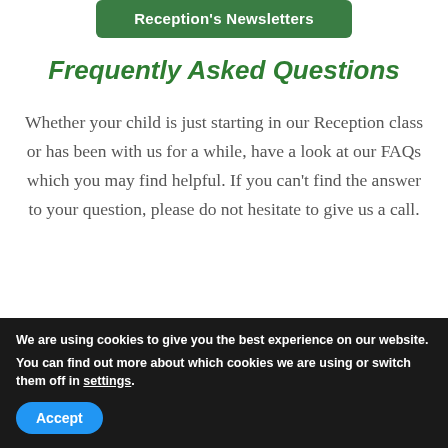[Figure (other): Green button labeled Reception's Newsletters]
Frequently Asked Questions
Whether your child is just starting in our Reception class or has been with us for a while, have a look at our FAQs which you may find helpful. If you can't find the answer to your question, please do not hesitate to give us a call.
We are using cookies to give you the best experience on our website.
You can find out more about which cookies we are using or switch them off in settings.
Accept